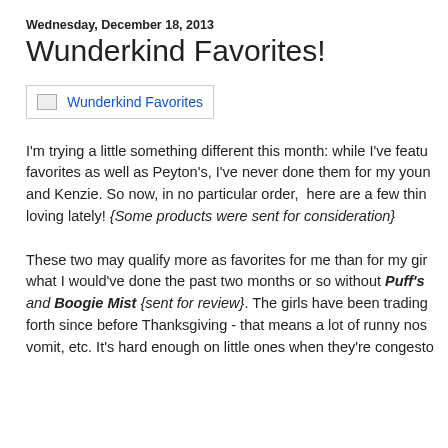Wednesday, December 18, 2013
Wunderkind Favorites!
[Figure (photo): Broken image placeholder labeled 'Wunderkind Favorites']
I'm trying a little something different this month: while I've featured favorites as well as Peyton's, I've never done them for my younger and Kenzie. So now, in no particular order, here are a few things loving lately! {Some products were sent for consideration}
These two may qualify more as favorites for me than for my gir what I would've done the past two months or so without Puff's and Boogie Mist {sent for review}. The girls have been trading forth since before Thanksgiving - that means a lot of runny nos vomit, etc. It's hard enough on little ones when they're congesto